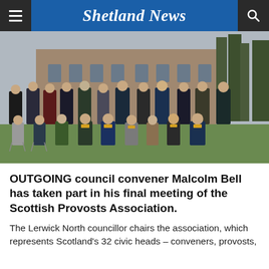Shetland News
[Figure (photo): Group photograph of approximately 18 people, including council provosts and conveners wearing ceremonial chains of office, posing outside a large Scottish stone castle/mansion building. A piper in highland dress stands on the far left. Two rows: a standing row and a seated row on chairs on a lawn.]
OUTGOING council convener Malcolm Bell has taken part in his final meeting of the Scottish Provosts Association.
The Lerwick North councillor chairs the association, which represents Scotland's 32 civic heads – conveners, provosts,